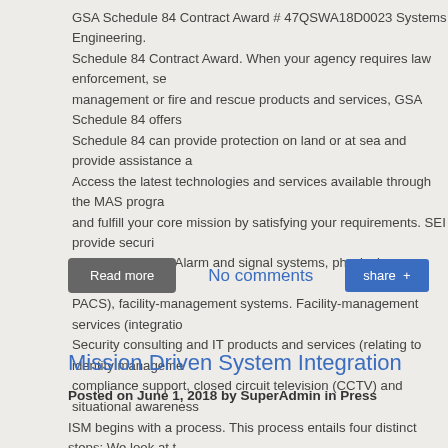GSA Schedule 84 Contract Award # 47QSWA18D0023 Systems Engineering. Schedule 84 Contract Award. When your agency requires law enforcement, security management or fire and rescue products and services, GSA Schedule 84 offers. Schedule 84 can provide protection on land or at sea and provide assistance a. Access the latest technologies and services available through the MAS program and fulfill your core mission by satisfying your requirements. SEI provide security support services. Alarm and signal systems, physical-access control systems (PACS), facility-management systems. Facility-management services (integration. Security consulting and IT products and services (relating to identity management, compliance support, closed circuit television (CCTV) and situational awareness.
Read more
No comments
share +
Mission Driven System Integration
Posted on June 1, 2018 by SuperAdmin in Press
ISM begins with a process. This process entails four distinct steps: We look at to determine the assets required to carry out that mission; we visualize the data; a